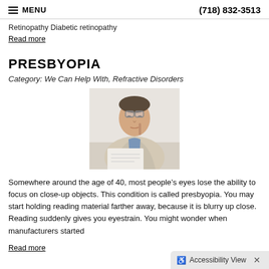MENU   (718) 832-3513
Retinopathy Diabetic retinopathy
Read more
PRESBYOPIA
Category: We Can Help With, Refractive Disorders
[Figure (photo): Man in suit holding glasses up while reading a document, squinting]
Somewhere around the age of 40, most people’s eyes lose the ability to focus on close-up objects. This condition is called presbyopia. You may start holding reading material farther away, because it is blurry up close. Reading suddenly gives you eyestrain. You might wonder when manufacturers started
Read more